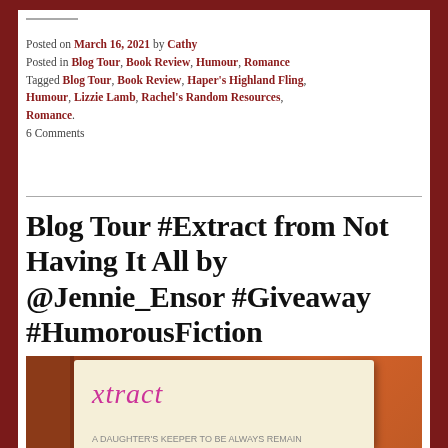Posted on March 16, 2021 by Cathy
Posted in Blog Tour, Book Review, Humour, Romance
Tagged Blog Tour, Book Review, Haper's Highland Fling, Humour, Lizzie Lamb, Rachel's Random Resources, Romance.
6 Comments
Blog Tour #Extract from Not Having It All by @Jennie_Ensor #Giveaway #HumorousFiction
[Figure (photo): Photo of a notebook/notepad on a wooden surface with the word 'extract' written in pink cursive lettering, and a book or document beneath it.]